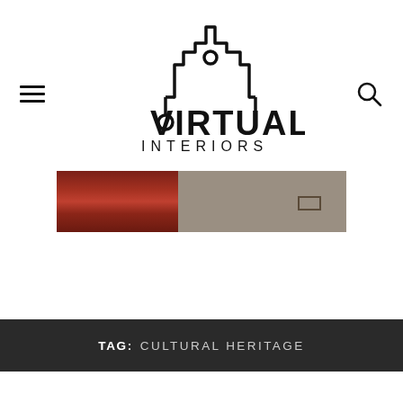[Figure (logo): Virtual Interiors logo — stylized building/circuit board graphic above the text 'VIRTUAL INTERIORS']
[Figure (photo): Partial interior photo showing red curtains or panels on the left and a beige wall with a small drawer/handle on the right]
TAG: CULTURAL HERITAGE